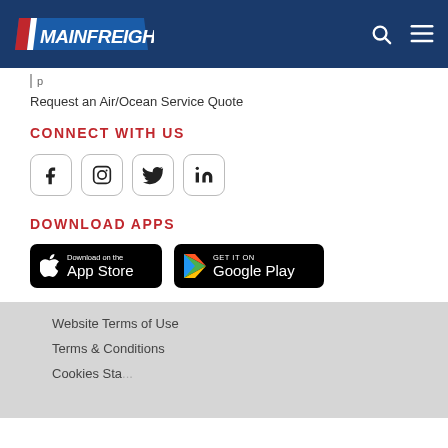Mainfreight
Request an Air/Ocean Service Quote
CONNECT WITH US
[Figure (infographic): Four social media icon buttons in rounded square outlines: Facebook (f), Instagram (camera), Twitter (bird), LinkedIn (in)]
DOWNLOAD APPS
[Figure (infographic): Two app store download badges side by side: 'Download on the App Store' (Apple) and 'GET IT ON Google Play' (Google)]
Website Terms of Use
Terms & Conditions
Cookies Statement
Website Terms of Use
Terms & Conditions
Cookies Statement